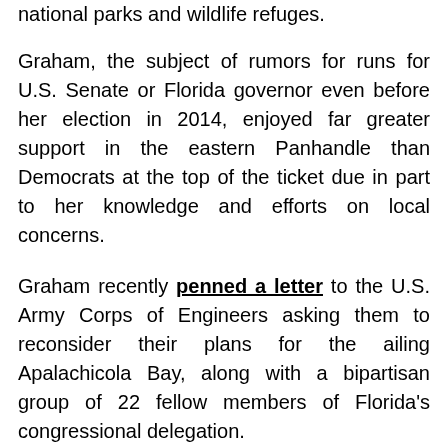national parks and wildlife refuges.
Graham, the subject of rumors for runs for U.S. Senate or Florida governor even before her election in 2014, enjoyed far greater support in the eastern Panhandle than Democrats at the top of the ticket due in part to her knowledge and efforts on local concerns.
Graham recently penned a letter to the U.S. Army Corps of Engineers asking them to reconsider their plans for the ailing Apalachicola Bay, along with a bipartisan group of 22 fellow members of Florida's congressional delegation.
While reauthorization of the Land and Water Conservation Fund is causing a simmering tension among Republicans, Graham used the